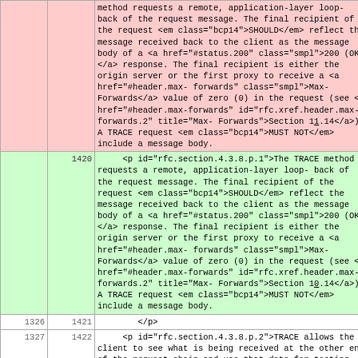| col1 | col2 | content |
| --- | --- | --- |
|  |  | method requests a remote, application-layer loop-back of the request message. The final recipient of the request <em class="bcp14">SHOULD</em> reflect the message received back to the client as the message body of a <a href="#status.200" class="smpl">200 (OK)</a> response. The final recipient is either the origin server or the first proxy to receive a <a href="#header.max-forwards" class="smpl">Max-Forwards</a> value of zero (0) in the request (see <a href="#header.max-forwards" id="rfc.xref.header.max-forwards.2" title="Max-Forwards">Section&nbsp;11.14</a>). A TRACE request <em class="bcp14">MUST NOT</em> include a message body. |
| 1420 |  | <p id="rfc.section.4.3.8.p.1">The TRACE method requests a remote, application-layer loop-back of the request message. The final recipient of the request <em class="bcp14">SHOULD</em> reflect the message received back to the client as the message body of a <a href="#status.200" class="smpl">200 (OK)</a> response. The final recipient is either the origin server or the first proxy to receive a <a href="#header.max-forwards" class="smpl">Max-Forwards</a> value of zero (0) in the request (see <a href="#header.max-forwards" id="rfc.xref.header.max-forwards.2" title="Max-Forwards">Section&nbsp;10.14</a>). A TRACE request <em class="bcp14">MUST NOT</em> include a message body. |
| 1326 | 1421 | </p> |
| 1327 | 1422 | <p id="rfc.section.4.3.8.p.2">TRACE allows the client to see what is being received at the other end of the request chain and use that data for testing |
| ... | ... |  |